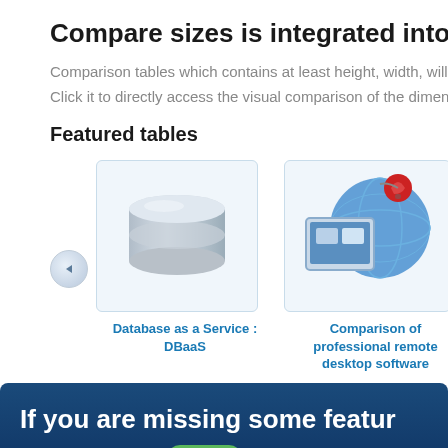Compare sizes is integrated into com
Comparison tables which contains at least height, width, will c
Click it to directly access the visual comparison of the dimens
Featured tables
[Figure (illustration): Database cylinder icon representing Database as a Service (DBaaS)]
Database as a Service : DBaaS
[Figure (illustration): Globe with monitor and red alarm icon representing Comparison of professional remote desktop software]
Comparison of professional remote desktop software
[Figure (illustration): Partial mockup screenshot icon (cropped)]
Mock
If you are missing some featur
You can send us a Tweet or you can drop us